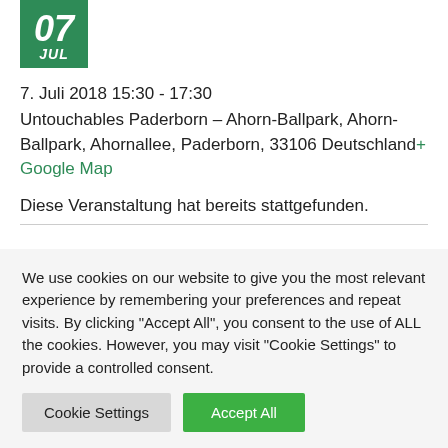[Figure (other): Green calendar icon showing day 07 and month JUL]
7. Juli 2018 15:30 - 17:30
Untouchables Paderborn – Ahorn-Ballpark, Ahorn-Ballpark, Ahornallee, Paderborn, 33106 Deutschland+ Google Map
Diese Veranstaltung hat bereits stattgefunden.
We use cookies on our website to give you the most relevant experience by remembering your preferences and repeat visits. By clicking "Accept All", you consent to the use of ALL the cookies. However, you may visit "Cookie Settings" to provide a controlled consent.